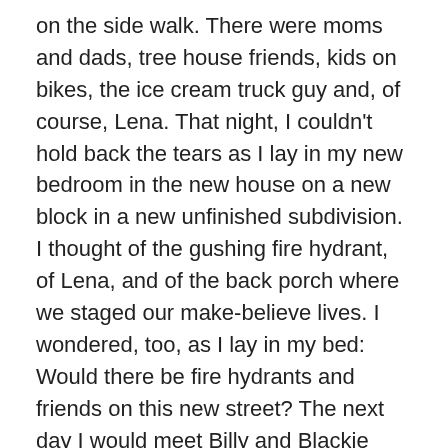on the side walk. There were moms and dads, tree house friends, kids on bikes, the ice cream truck guy and, of course, Lena. That night, I couldn't hold back the tears as I lay in my new bedroom in the new house on a new block in a new unfinished subdivision. I thought of the gushing fire hydrant, of Lena, and of the back porch where we staged our make-believe lives. I wondered, too, as I lay in my bed: Would there be fire hydrants and friends on this new street? The next day I would meet Billy and Blackie dog.
*************
Part Two: Billy the Kid, Bill the Buddy…continued here.
Rate this:
Rate This